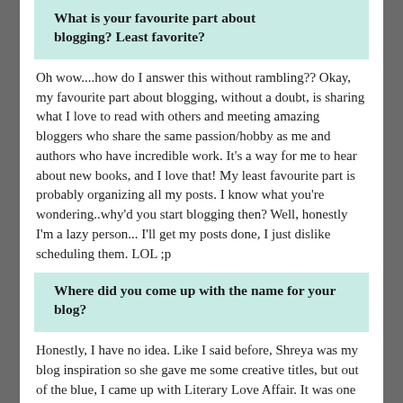What is your favourite part about blogging? Least favorite?
Oh wow....how do I answer this without rambling?? Okay, my favourite part about blogging, without a doubt, is sharing what I love to read with others and meeting amazing bloggers who share the same passion/hobby as me and authors who have incredible work. It's a way for me to hear about new books, and I love that! My least favourite part is probably organizing all my posts. I know what you're wondering..why'd you start blogging then? Well, honestly I'm a lazy person... I'll get my posts done, I just dislike scheduling them. LOL ;p
Where did you come up with the name for your blog?
Honestly, I have no idea. Like I said before, Shreya was my blog inspiration so she gave me some creative titles, but out of the blue, I came up with Literary Love Affair. It was one of those spontaneous moments...not too much thinking was done. Plus, I don't think I've seen another blog, as of yet, with the same name.